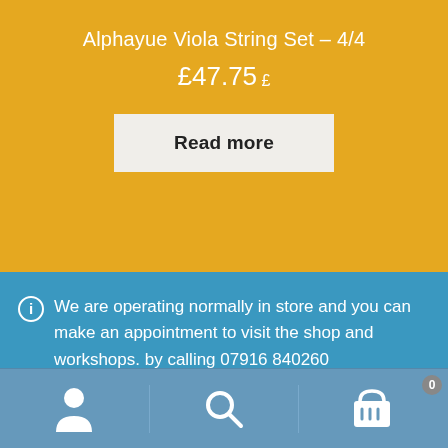Alphayue Viola String Set – 4/4
£47.75 £
Read more
We are operating normally in store and you can make an appointment to visit the shop and workshops. by calling 07916 840260
Dismiss
[Figure (infographic): Bottom navigation bar with user account icon, search icon, and shopping cart icon with badge showing 0]